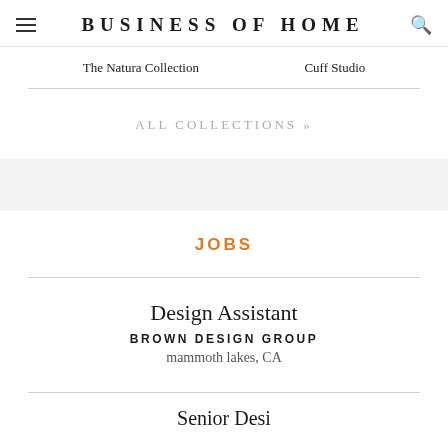BUSINESS OF HOME
The Natura Collection
Cuff Studio
ALL COLLECTIONS »
JOBS
Design Assistant
BROWN DESIGN GROUP
mammoth lakes, CA
Senior Desi...